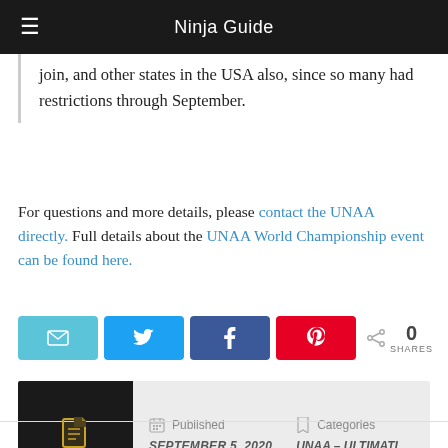Ninja Guide
join, and other states in the USA also, since so many had restrictions through September.
For questions and more details, please contact the UNAA directly. Full details about the UNAA World Championship event can be found here.
[Figure (infographic): Social share buttons: email (teal), Twitter (blue), Facebook (dark blue), Pinterest (red), with share count showing 0 SHARES]
| Published | Categories |
| --- | --- |
| SEPTEMBER 5, 2020 | UNAA – ULTIMATI… |